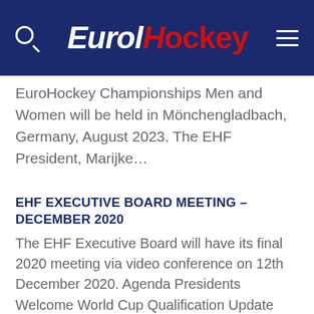EuroHockey
EuroHockey Championships Men and Women will be held in Mönchengladbach, Germany, August 2023. The EHF President, Marijke…
EHF EXECUTIVE BOARD MEETING – DECEMBER 2020
The EHF Executive Board will have its final 2020 meeting via video conference on 12th December 2020. Agenda Presidents Welcome World Cup Qualification Update and discussion EHC 2023 Bid Recommendation Indoor Commercial Update Finance Update General Committee…